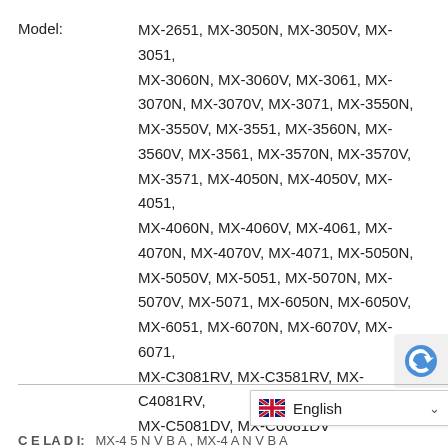Model: MX-2651, MX-3050N, MX-3050V, MX-3051, MX-3060N, MX-3060V, MX-3061, MX-3070N, MX-3070V, MX-3071, MX-3550N, MX-3550V, MX-3551, MX-3560N, MX-3560V, MX-3561, MX-3570N, MX-3570V, MX-3571, MX-4050N, MX-4050V, MX-4051, MX-4060N, MX-4060V, MX-4061, MX-4070N, MX-4070V, MX-4071, MX-5050N, MX-5050V, MX-5051, MX-5070N, MX-5070V, MX-5071, MX-6050N, MX-6050V, MX-6051, MX-6070N, MX-6070V, MX-6071, MX-C3081RV, MX-C3581RV, MX-C4081RV, MX-C5081DV, MX-C6081DV
Brands: SHARP